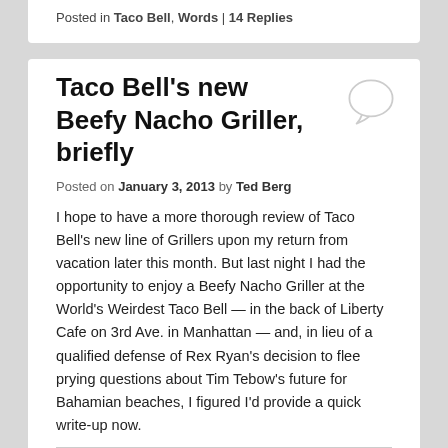Posted in Taco Bell, Words | 14 Replies
Taco Bell's new Beefy Nacho Griller, briefly
Posted on January 3, 2013 by Ted Berg
I hope to have a more thorough review of Taco Bell's new line of Grillers upon my return from vacation later this month. But last night I had the opportunity to enjoy a Beefy Nacho Griller at the World's Weirdest Taco Bell — in the back of Liberty Cafe on 3rd Ave. in Manhattan — and, in lieu of a qualified defense of Rex Ryan's decision to flee prying questions about Tim Tebow's future for Bahamian beaches, I figured I'd provide a quick write-up now.
[Figure (photo): Partial photo of food item at bottom of page]